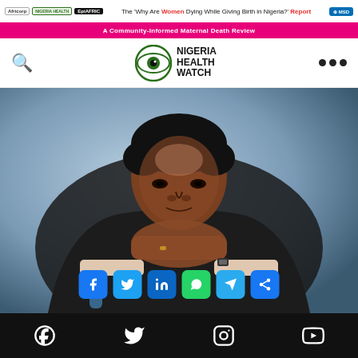Nigeria Health Watch — The 'Why Are Women Dying While Giving Birth in Nigeria?' Report — A Community-Informed Maternal Death Review
[Figure (logo): Nigeria Health Watch logo with eye icon]
[Figure (photo): A man in a suit resting his chin on his clasped hands, looking contemplatively, with a blue blurred background]
[Figure (infographic): Social share buttons: Facebook, Twitter, LinkedIn, WhatsApp, Telegram, Share]
Social media icons: Facebook, Twitter, Instagram, YouTube